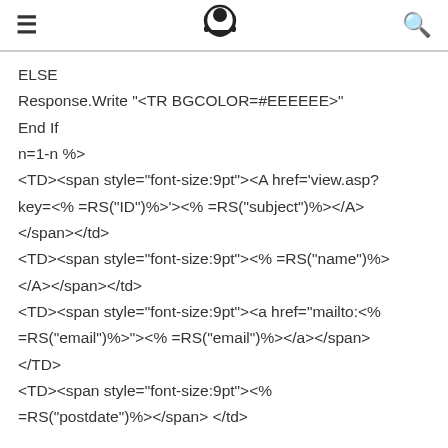≡  [logo]  🔍
ELSE
Response.Write "<TR BGCOLOR=#EEEEEE>"
End If
n=1-n %>
<TD><span style="font-size:9pt"><A href='view.asp?key=<% =RS("ID")%>'><% =RS("subject")%></A></span></td>
<TD><span style="font-size:9pt"><% =RS("name")%></A></span></td>
<TD><span style="font-size:9pt"><a href="mailto:<% =RS("email")%>"><% =RS("email")%></a></span></TD>
<TD><span style="font-size:9pt"><% =RS("postdate")%></span> </td>